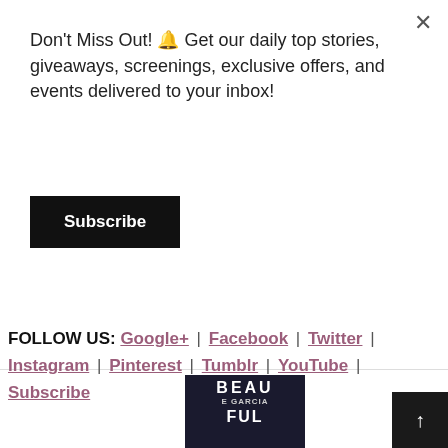Don't Miss Out! 🔔 Get our daily top stories, giveaways, screenings, exclusive offers, and events delivered to your inbox!
Subscribe
[Figure (photo): Book cover for 'The Most Beautiful: My...' showing dark background with 'BEAU...FUL' text and E GARCIA byline]
The Most Beautiful: My...
$11.11  ✓Prime
Shop now
FOLLOW US: Google+ | Facebook | Twitter | Instagram | Pinterest | Tumblr | YouTube | Subscribe